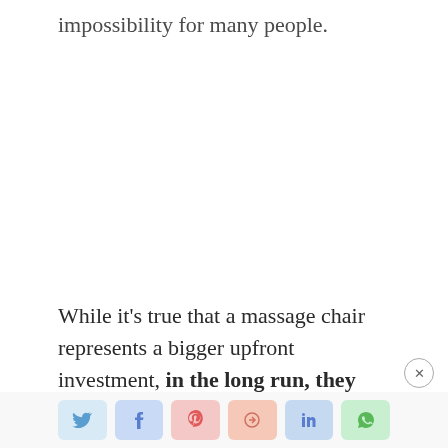impossibility for many people.
While it’s true that a massage chair represents a bigger upfront investment, in the long run, they
wind up being cheaper than a